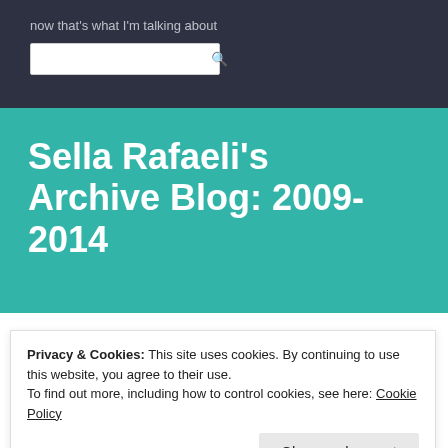now that's what I'm talking about
Sella Rafaeli's Archive Blog: 2009-2014
Month: May 2014
Privacy & Cookies: This site uses cookies. By continuing to use this website, you agree to their use.
To find out more, including how to control cookies, see here: Cookie Policy
I believe that every time a developer implements